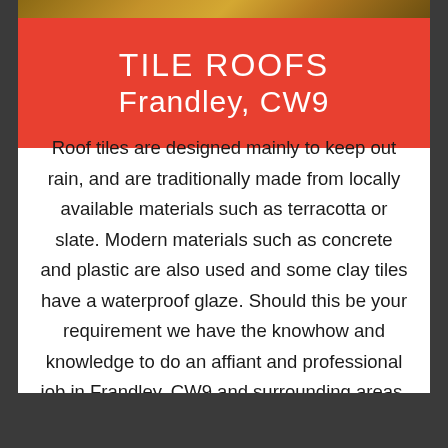TILE ROOFS
Frandley, CW9
Roof tiles are designed mainly to keep out rain, and are traditionally made from locally available materials such as terracotta or slate. Modern materials such as concrete and plastic are also used and some clay tiles have a waterproof glaze. Should this be your requirement we have the knowhow and knowledge to do an affiant and professional job in Frandley, CW9 and surrounding areas.